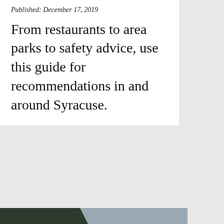Published: December 17, 2019
From restaurants to area parks to safety advice, use this guide for recommendations in and around Syracuse.
[Figure (photo): A young woman with long red hair sits on a grassy clifftop overlooking a dramatic coastal scene with crashing waves and dark cliffs.]